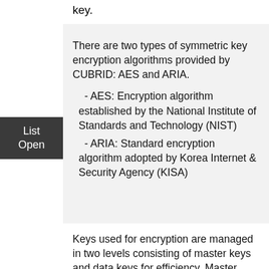key.
There are two types of symmetric key encryption algorithms provided by CUBRID: AES and ARIA.
- AES: Encryption algorithm established by the National Institute of Standards and Technology (NIST)
- ARIA: Standard encryption algorithm adopted by Korea Internet & Security Agency (KISA)
Keys used for encryption are managed in two levels consisting of master keys and data keys for efficiency. Master keys managed by